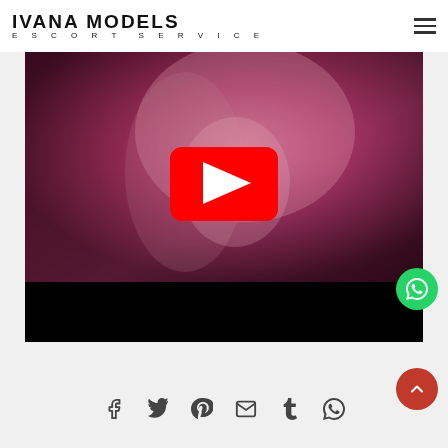IVANA MODELS ESCORT SERVICE
[Figure (screenshot): YouTube video embed with a blonde woman in pink/purple lighting as thumbnail, with a red YouTube play button centered over the thumbnail, and a black letterbox bar at the bottom.]
[Figure (infographic): Social sharing icons row: Facebook, Twitter, Pinterest, Gmail, Tumblr, WhatsApp]
[Figure (other): WhatsApp floating action button (green circle) and scroll-to-top button (red circle with up arrow)]